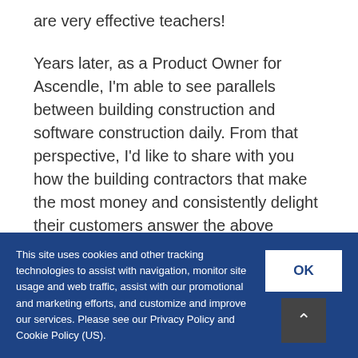are very effective teachers!
Years later, as a Product Owner for Ascendle, I'm able to see parallels between building construction and software construction daily. From that perspective, I'd like to share with you how the building contractors that make the most money and consistently delight their customers answer the above question.
The Problem
This site uses cookies and other tracking technologies to assist with navigation, monitor site usage and web traffic, assist with our promotional and marketing efforts, and customize and improve our services. Please see our Privacy Policy and Cookie Policy (US).